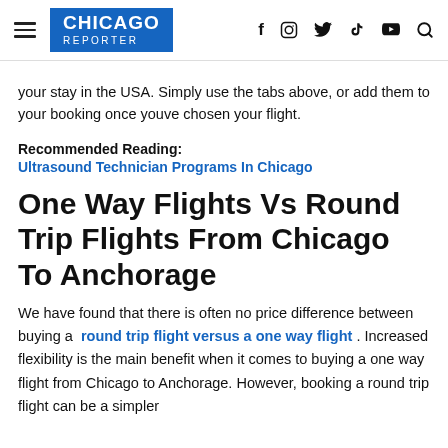CHICAGO REPORTER
your stay in the USA. Simply use the tabs above, or add them to your booking once youve chosen your flight.
Recommended Reading: Ultrasound Technician Programs In Chicago
One Way Flights Vs Round Trip Flights From Chicago To Anchorage
We have found that there is often no price difference between buying a round trip flight versus a one way flight . Increased flexibility is the main benefit when it comes to buying a one way flight from Chicago to Anchorage. However, booking a round trip flight can be a simpler